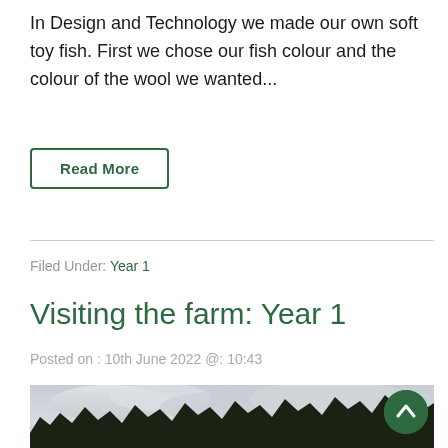In Design and Technology we made our own soft toy fish. First we chose our fish colour and the colour of the wool we wanted...
Read More
Filed Under: Year 1
Visiting the farm: Year 1
Posted on : 10th June 2022 @ 10:43
[Figure (photo): Outdoor landscape photo showing a cloudy sky and dark treeline/forest silhouette at the bottom]